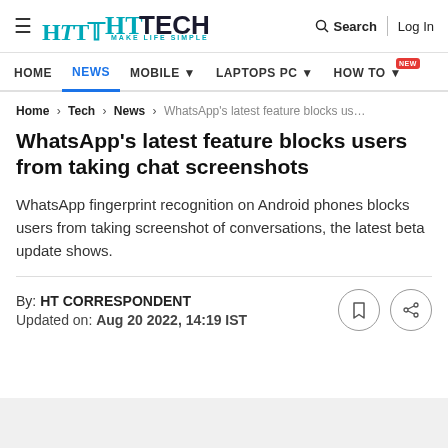HT TECH — MAKE LIFE SIMPLE | Search | Log In
HOME | NEWS | MOBILE | LAPTOPS PC | HOW TO NEW
Home > Tech > News > WhatsApp's latest feature blocks us…
WhatsApp's latest feature blocks users from taking chat screenshots
WhatsApp fingerprint recognition on Android phones blocks users from taking screenshot of conversations, the latest beta update shows.
By: HT CORRESPONDENT
Updated on: Aug 20 2022, 14:19 IST